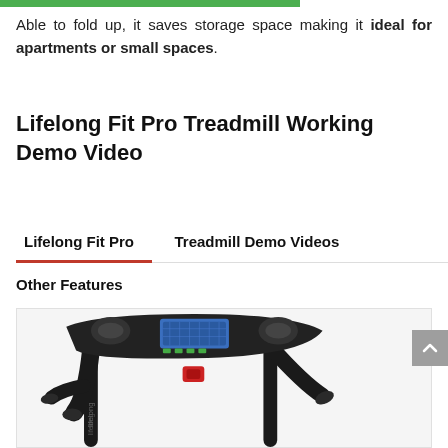Able to fold up, it saves storage space making it ideal for apartments or small spaces.
Lifelong Fit Pro Treadmill Working Demo Video
Lifelong Fit Pro | Treadmill Demo Videos | Other Features
[Figure (photo): Photo of Lifelong Fit Pro treadmill showing the handlebar console area with blue display screen, cup holders, and control buttons on a black frame]